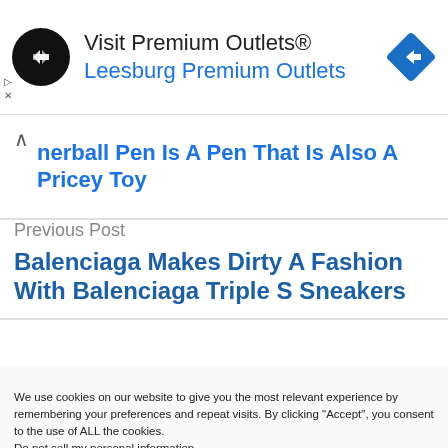[Figure (infographic): Advertisement banner for Visit Premium Outlets® with a circular black logo featuring a white double-arrow icon, text 'Visit Premium Outlets®' and 'Leesburg Premium Outlets' in blue, and a blue diamond navigation arrow icon on the right.]
nerball Pen Is A Pen That Is Also A Pricey Toy
Previous Post
Balenciaga Makes Dirty A Fashion With Balenciaga Triple S Sneakers
We use cookies on our website to give you the most relevant experience by remembering your preferences and repeat visits. By clicking “Accept”, you consent to the use of ALL the cookies.
Do not sell my personal information.